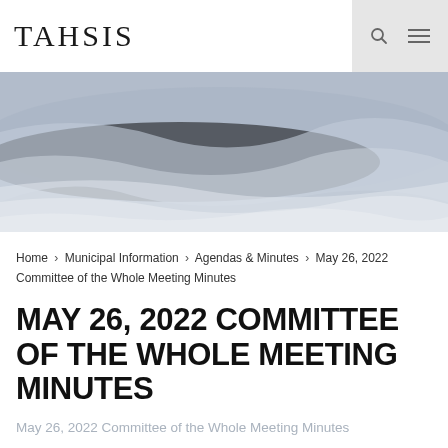TAHSIS
[Figure (illustration): Hero banner with blue-grey watercolor/painted texture background]
Home › Municipal Information › Agendas & Minutes › May 26, 2022 Committee of the Whole Meeting Minutes
MAY 26, 2022 COMMITTEE OF THE WHOLE MEETING MINUTES
May 26, 2022 Committee of the Whole Meeting Minutes